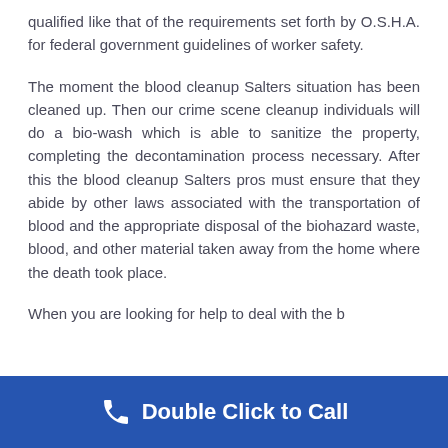qualified like that of the requirements set forth by O.S.H.A. for federal government guidelines of worker safety.
The moment the blood cleanup Salters situation has been cleaned up. Then our crime scene cleanup individuals will do a bio-wash which is able to sanitize the property, completing the decontamination process necessary. After this the blood cleanup Salters pros must ensure that they abide by other laws associated with the transportation of blood and the appropriate disposal of the biohazard waste, blood, and other material taken away from the home where the death took place.
When you are looking for help to deal with the b...
[Figure (other): Blue call-to-action banner with phone icon and text 'Double Click to Call']